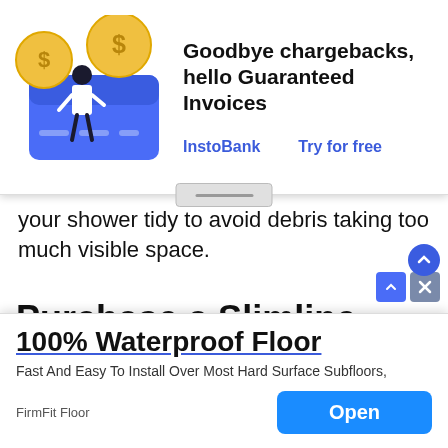[Figure (infographic): Advertisement banner overlay showing a financial illustration with a person and credit card icons, for InstoBank Guaranteed Invoices. Headline: 'Goodbye chargebacks, hello Guaranteed Invoices'. Links: 'InstoBank' and 'Try for free'.]
your shower tidy to avoid debris taking too much visible space.
Purchase a Slimline Trolley
[Figure (photo): Bathroom scene with tiled walls and what appears to be shower fixtures, partially covered by bottom advertisement.]
[Figure (infographic): Advertisement banner overlay for FirmFit Floor: '100% Waterproof Floor', 'Fast And Easy To Install Over Most Hard Surface Subfloors,', 'FirmFit Floor', with an 'Open' button.]